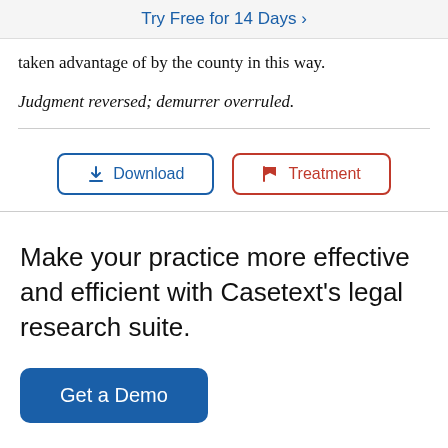Try Free for 14 Days >
taken advantage of by the county in this way.
Judgment reversed; demurrer overruled.
[Figure (other): Two action buttons: a Download button with blue border and download icon, and a Treatment button with red border and flag icon]
Make your practice more effective and efficient with Casetext's legal research suite.
Get a Demo